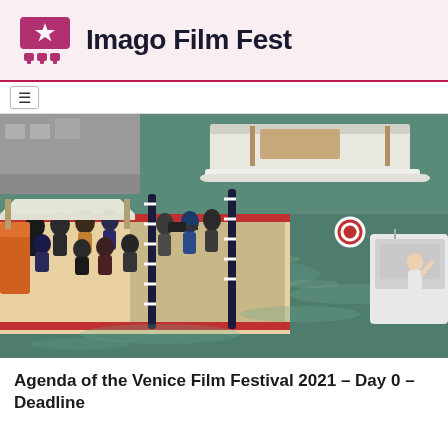Imago Film Fest
[Figure (photo): Aerial view of Venice waterfront dock with a crowd of photographers, journalists, and crew members on a red-edged pier. Boats are visible on the green canal water. A person on a small boat on the right side appears to be waving.]
Agenda of the Venice Film Festival 2021 – Day 0 – Deadline